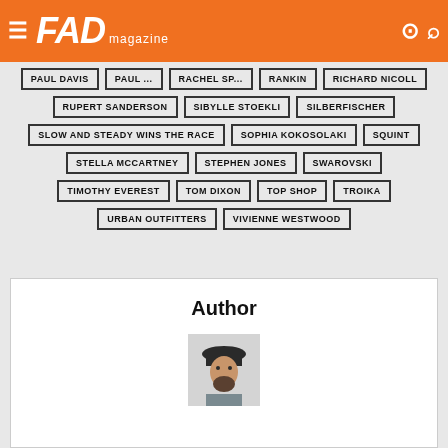FAD magazine
PAUL DAVIS
RANKIN
RICHARD NICOLL
RUPERT SANDERSON
RACHEL SP...
SIBYLLE STOEKLI
SILBERFISCHER
SLOW AND STEADY WINS THE RACE
SOPHIA KOKOSOLAKI
SQUINT
STELLA MCCARTNEY
STEPHEN JONES
SWAROVSKI
TIMOTHY EVEREST
TOM DIXON
TOP SHOP
TROIKA
URBAN OUTFITTERS
VIVIENNE WESTWOOD
Author